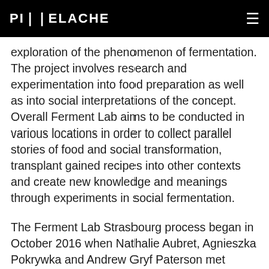PIXELACHE
exploration of the phenomenon of fermentation. The project involves research and experimentation into food preparation as well as into social interpretations of the concept. Overall Ferment Lab aims to be conducted in various locations in order to collect parallel stories of food and social transformation, transplant gained recipes into other contexts and create new knowledge and meanings through experiments in social fermentation.
The Ferment Lab Strasbourg process began in October 2016 when Nathalie Aubret, Agnieszka Pokrywka and Andrew Gryf Paterson met altogether with